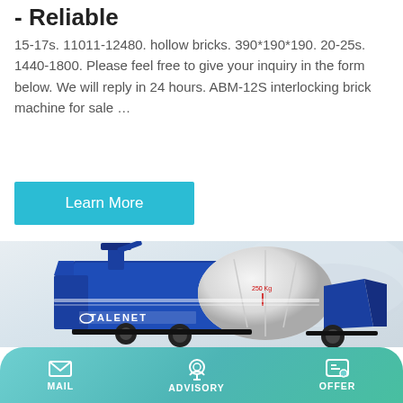- Reliable
15-17s. 11011-12480. hollow bricks. 390*190*190. 20-25s. 1440-1800. Please feel free to give your inquiry in the form below. We will reply in 24 hours. ABM-12S interlocking brick machine for sale …
Learn More
[Figure (photo): Blue TALENET brand concrete mixer/pump machine on wheels with a large white cylindrical drum, photographed against a light grey gradient background.]
MAIL  ADVISORY  OFFER